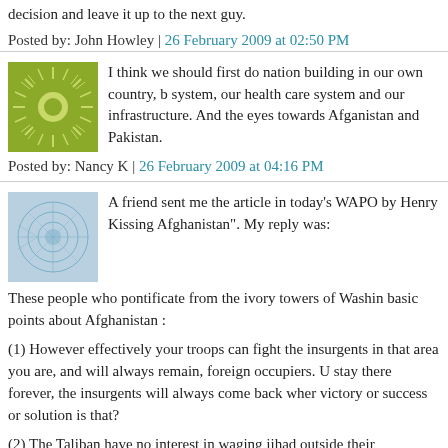decision and leave it up to the next guy.
Posted by: John Howley | 26 February 2009 at 02:50 PM
[Figure (illustration): Green sunburst avatar icon]
I think we should first do nation building in our own country, b... system, our health care system and our infrastructure. And the... eyes towards Afganistan and Pakistan.
Posted by: Nancy K | 26 February 2009 at 04:16 PM
[Figure (illustration): Blue abstract circle avatar icon]
A friend sent me the article in today's WAPO by Henry Kissing... Afghanistan". My reply was:
These people who pontificate from the ivory towers of Washin... basic points about Afghanistan :
(1) However effectively your troops can fight the insurgents in... that area you are, and will always remain, foreign occupiers. U... stay there forever, the insurgents will always come back wher... victory or success or solution is that?
(2) The Taliban have no interest in waging jihad outside their... experience, they are unlikely to allow al-Qaeda to set up bas... Afghanistan. This lesson can be reinforced by carrying out ai...